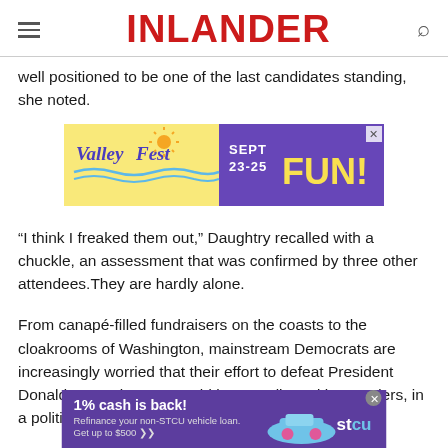INLANDER
well positioned to be one of the last candidates standing, she noted.
[Figure (other): ValleyFest advertisement: yellow and purple banner reading 'Valleyfest SEPT 23-25 FUN!']
“I think I freaked them out,” Daughtry recalled with a chuckle, an assessment that was confirmed by three other attendees. They are hardly alone.
From canapé-filled fundraisers on the coasts to the cloakrooms of Washington, mainstream Democrats are increasingly worried that their effort to defeat President Donald Trump in 2020 could be complicated by Sanders, in a political scenario all too reminiscent
[Figure (other): STCU advertisement: '1% cash is back! Refinance your non-STCU vehicle loan. Get up to $500' with a blue car graphic and STCU logo.]